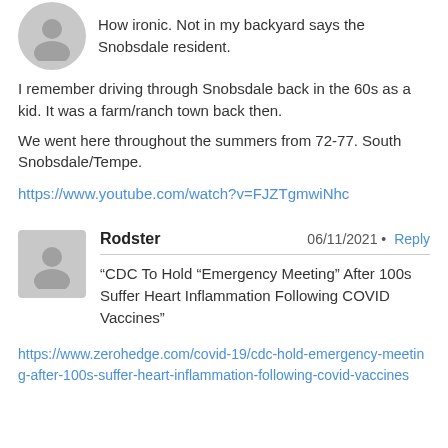Right on Scottsdale Road itself
How ironic. Not in my backyard says the Snobsdale resident.
I remember driving through Snobsdale back in the 60s as a kid. It was a farm/ranch town back then.
We went here throughout the summers from 72-77. South Snobsdale/Tempe.
https://www.youtube.com/watch?v=FJZTgmwiNhc
Rodster 06/11/2021 • Reply
“CDC To Hold “Emergency Meeting” After 100s Suffer Heart Inflammation Following COVID Vaccines”
https://www.zerohedge.com/covid-19/cdc-hold-emergency-meeting-after-100s-suffer-heart-inflammation-following-covid-vaccines